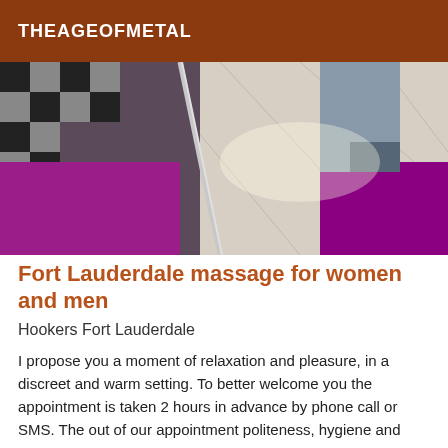THEAGEOFMETAL
[Figure (photo): Indoor scene showing chairs or furniture with purple/magenta and checkered black-white fabric, a metal pole, and a person's legs in jeans standing on a tiled floor.]
Fort Lauderdale massage for women and men
Hookers Fort Lauderdale
I propose you a moment of relaxation and pleasure, in a discreet and warm setting. To better welcome you the appointment is taken 2 hours in advance by phone call or SMS. The out of our appointment politeness, hygiene and mutual respect are required! My working hours are